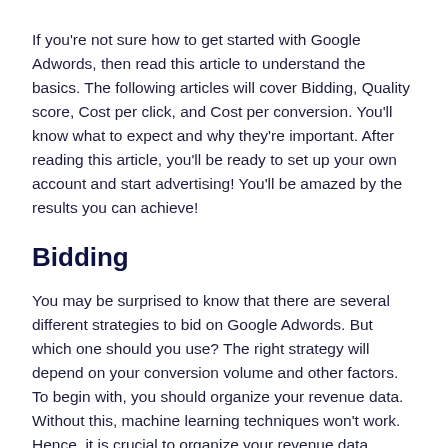If you're not sure how to get started with Google Adwords, then read this article to understand the basics. The following articles will cover Bidding, Quality score, Cost per click, and Cost per conversion. You'll know what to expect and why they're important. After reading this article, you'll be ready to set up your own account and start advertising! You'll be amazed by the results you can achieve!
Bidding
You may be surprised to know that there are several different strategies to bid on Google Adwords. But which one should you use? The right strategy will depend on your conversion volume and other factors. To begin with, you should organize your revenue data. Without this, machine learning techniques won't work. Hence, it is crucial to organize your revenue data consistently. The following are